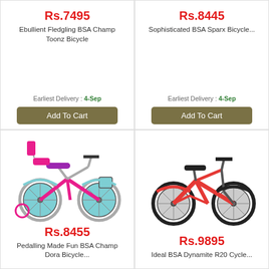Rs.7495
Ebullient Fledgling BSA Champ Toonz Bicycle
Earliest Delivery : 4-Sep
Add To Cart
Rs.8445
Sophisticated BSA Sparx Bicycle...
Earliest Delivery : 4-Sep
Add To Cart
[Figure (photo): Pink and teal children's bicycle with training wheels, basket, and back seat (BSA Champ Dora Bicycle)]
Rs.8455
Pedalling Made Fun BSA Champ Dora Bicycle...
[Figure (photo): Red and black mountain bicycle (BSA Dynamite R20 Cycle)]
Rs.9895
Ideal BSA Dynamite R20 Cycle...